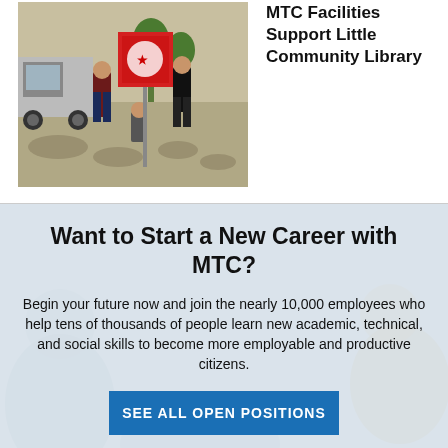[Figure (photo): Three workers installing a sign outdoors on a rocky area next to a truck.]
MTC Facilities Support Little Community Library
[Figure (photo): Background image with text overlay - career recruitment section for MTC]
Want to Start a New Career with MTC?
Begin your future now and join the nearly 10,000 employees who help tens of thousands of people learn new academic, technical, and social skills to become more employable and productive citizens.
SEE ALL OPEN POSITIONS